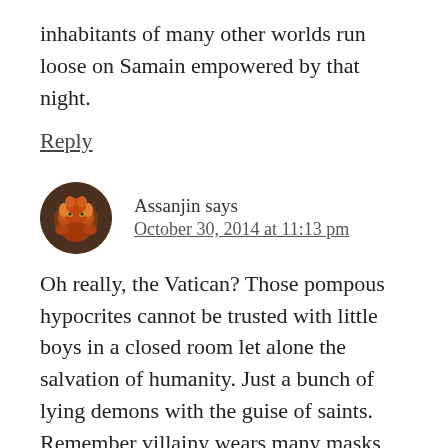inhabitants of many other worlds run loose on Samain empowered by that night.
Reply
Assanjin says
October 30, 2014 at 11:13 pm
Oh really, the Vatican? Those pompous hypocrites cannot be trusted with little boys in a closed room let alone the salvation of humanity. Just a bunch of lying demons with the guise of saints. Remember villainy wears many masks, none more dangerous than the